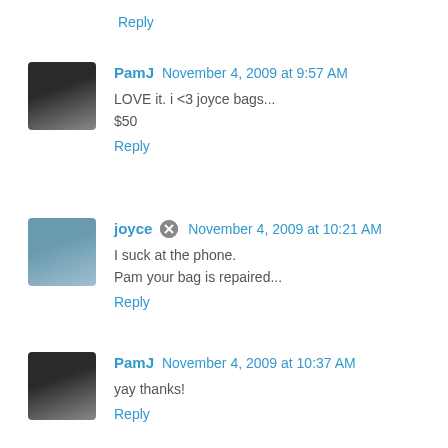Reply
PamJ November 4, 2009 at 9:57 AM
LOVE it. i <3 joyce bags...
$50
Reply
joyce November 4, 2009 at 10:21 AM
I suck at the phone.
Pam your bag is repaired...
Reply
PamJ November 4, 2009 at 10:37 AM
yay thanks!
Reply